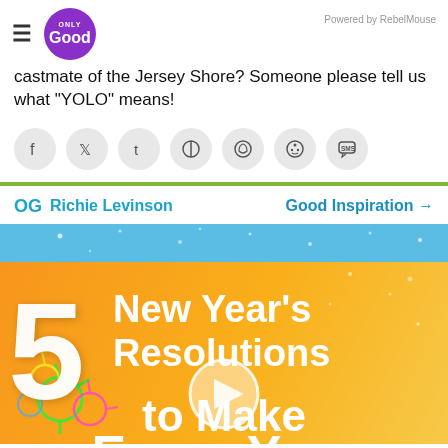Only Good | Powered by RebelMouse
castmate of the Jersey Shore? Someone please tell us what "YOLO" means!
[Figure (other): Social share icons row: Facebook, Twitter, Tumblr, Pinterest, WhatsApp, Reddit, SMS]
Richie Levinson   Good Inspiration →
[Figure (infographic): Thumbnail image with text: 5 New Year's Resolutions to Make Every Year, on an orange/yellow gradient background with fireworks and a video play button overlay]